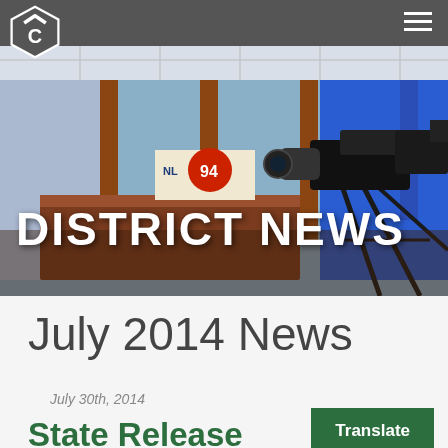[Figure (photo): Interior of a TV studio/newsroom with cameras, a reception desk with jersey number 94 display, blue screen background, and professional broadcast camera equipment on tripod in foreground]
DISTRICT NEWS
July 2014 News
July 30th, 2014
State Release